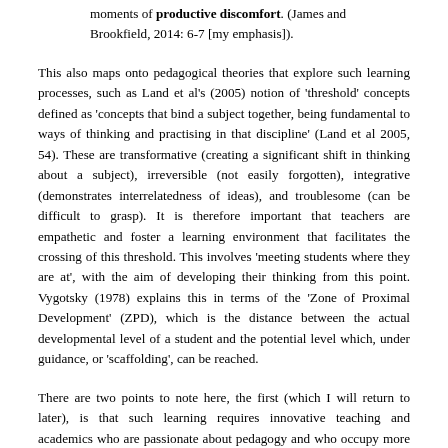moments of productive discomfort. (James and Brookfield, 2014: 6-7 [my emphasis]).
This also maps onto pedagogical theories that explore such learning processes, such as Land et al's (2005) notion of 'threshold' concepts defined as 'concepts that bind a subject together, being fundamental to ways of thinking and practising in that discipline' (Land et al 2005, 54). These are transformative (creating a significant shift in thinking about a subject), irreversible (not easily forgotten), integrative (demonstrates interrelatedness of ideas), and troublesome (can be difficult to grasp). It is therefore important that teachers are empathetic and foster a learning environment that facilitates the crossing of this threshold. This involves 'meeting students where they are at', with the aim of developing their thinking from this point. Vygotsky (1978) explains this in terms of the 'Zone of Proximal Development' (ZPD), which is the distance between the actual developmental level of a student and the potential level which, under guidance, or 'scaffolding', can be reached.
There are two points to note here, the first (which I will return to later), is that such learning requires innovative teaching and academics who are passionate about pedagogy and who occupy more than a role of teaching to test. Secondly, this process inevitably involves a period of discomfort;